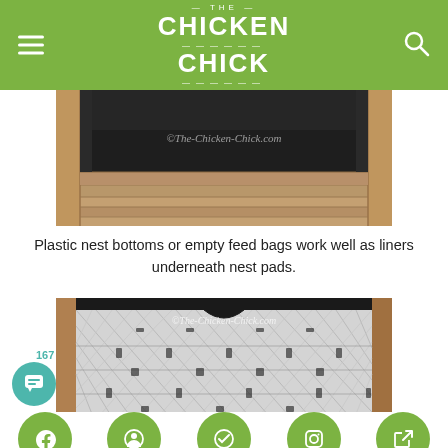THE CHICKEN CHICK
[Figure (photo): Interior of a chicken nest box showing dark plastic liner on wooden floor with watermark ©The-Chicken-Chick.com]
Plastic nest bottoms or empty feed bags work well as liners underneath nest pads.
[Figure (photo): Close-up of a white plastic mesh/lattice nest pad used in a chicken nest box, with watermark ©The-Chicken-Chick.com]